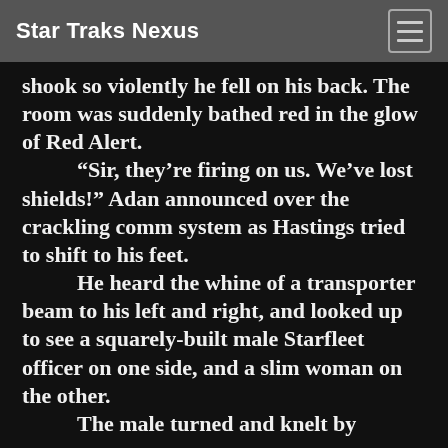Star Traks Nexus
shook so violently he fell on his back. The room was suddenly bathed red in the glow of Red Alert.
“Sir, they’re firing on us. We’ve lost shields!” Adan announced over the crackling comm system as Hastings tried to shift to his feet.
He heard the whine of a transporter beam to his left and right, and looked up to see a squarely-built male Starfleet officer on one side, and a slim woman on the other.
The male turned and knelt by